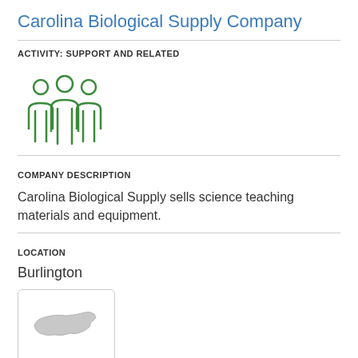Carolina Biological Supply Company
ACTIVITY: SUPPORT AND RELATED
[Figure (illustration): Icon of three people (group/team) outlined in green]
COMPANY DESCRIPTION
Carolina Biological Supply sells science teaching materials and equipment.
LOCATION
Burlington
[Figure (map): Small map thumbnail showing the shape of North Carolina state in light grey, inside a rounded rectangle box]
COMPANY